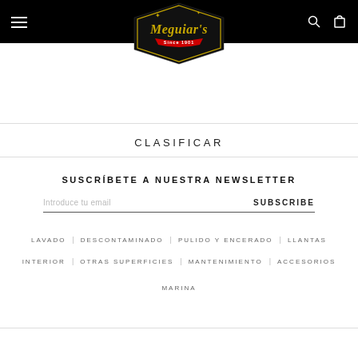Meguiar's navigation header with hamburger menu, logo, search and cart icons
[Figure (logo): Meguiar's logo - gold script text on black diamond shape with red ribbon banner]
CLASIFICAR
SUSCRÍBETE A NUESTRA NEWSLETTER
Introduce tu email  SUBSCRIBE
LAVADO
DESCONTAMINADO
PULIDO Y ENCERADO
LLANTAS
INTERIOR
OTRAS SUPERFICIES
MANTENIMIENTO
ACCESORIOS
MARINA